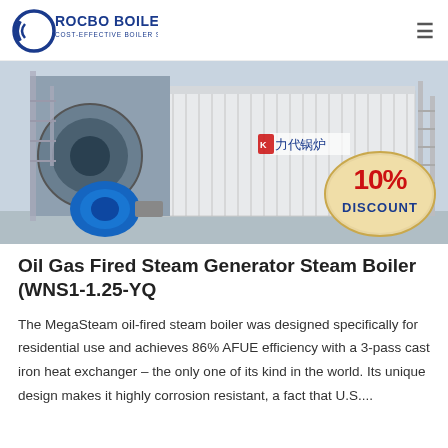ROCBO BOILER — COST-EFFECTIVE BOILER SUPPLIER
[Figure (photo): Industrial oil gas fired steam boiler (WNS1-1.25-YQ) installed outdoors, showing the large white rectangular boiler unit with Chinese branding characters, a blue burner/motor on the left, metal staircase on the right, and a '10% DISCOUNT' promotional badge overlaid in the lower right corner.]
Oil Gas Fired Steam Generator Steam Boiler (WNS1-1.25-YQ
The MegaSteam oil-fired steam boiler was designed specifically for residential use and achieves 86% AFUE efficiency with a 3-pass cast iron heat exchanger – the only one of its kind in the world. Its unique design makes it highly corrosion resistant, a fact that U.S....